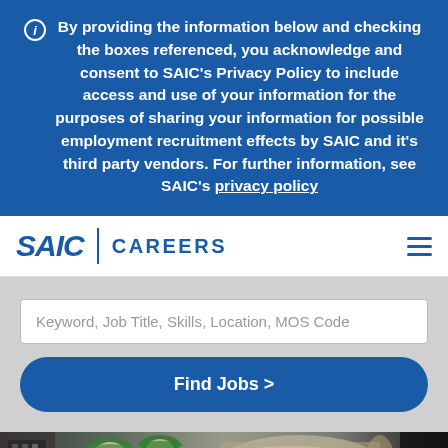ℹ  By providing the information below and checking the boxes referenced, you acknowledge and consent to SAIC's Privacy Policy to include access and use of your information for the purposes of sharing your information for possible employment recruitment effects by SAIC and it's third party vendors. For further information, see SAIC's privacy policy
[Figure (logo): SAIC CAREERS logo with blue text and divider bar, and hamburger menu icon on the right]
Keyword, Job Title, Skills, Location, MOS Code
Find Jobs >
[Figure (photo): Workers in green hard hats working on industrial equipment]